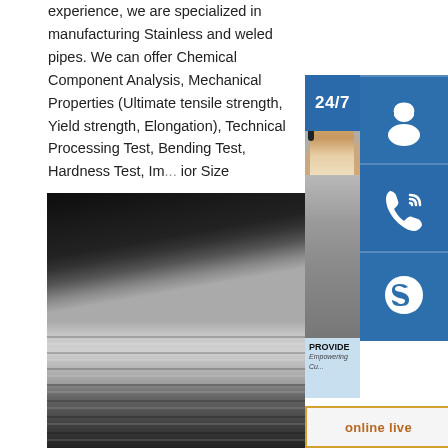experience, we are specialized in manufacturing Stainless and weled pipes. We can offer Chemical Component Analysis, Mechanical Properties (Ultimate tensile strength, Yield strength, Elongation), Technical Processing Test, Bending Test, Hardness Test, Im... ior Size
[Figure (photo): Photo of stainless steel sheets/plates stacked, showing metallic surface with reflective striped texture, dark background at top]
[Figure (infographic): Overlay panel on right side showing: 24/7 customer support label with headset icon, phone icon, Skype icon, customer service representative photo, PROVIDE text with Empowering Customers tagline, and online live button]